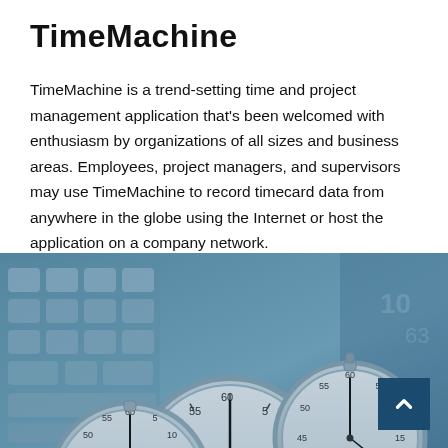TimeMachine
TimeMachine is a trend-setting time and project management application that's been welcomed with enthusiasm by organizations of all sizes and business areas. Employees, project managers, and supervisors may use TimeMachine to record timecard data from anywhere in the globe using the Internet or host the application on a company network.
[Figure (photo): Photo of multiple stopwatches/pocket watches arranged on a blue-tinted computer keyboard background, suggesting time and project tracking theme.]